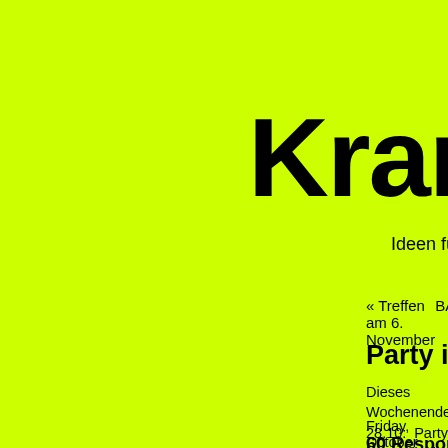Kran5
Ideen für Kalk
« Treffen am 6. November
BÄ
Party im Fischhaus
Dieses Wochenende 28.10: Party in Kalk im ganzen Taunusstrasse: Fr + Sa + So
Friday, October 28th, 2005
60 Responses to "Party im Fischhaus"